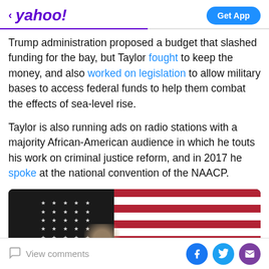yahoo! | Get App
Trump administration proposed a budget that slashed funding for the bay, but Taylor fought to keep the money, and also worked on legislation to allow military bases to access federal funds to help them combat the effects of sea-level rise.
Taylor is also running ads on radio stations with a majority African-American audience in which he touts his work on criminal justice reform, and in 2017 he spoke at the national convention of the NAACP.
[Figure (photo): A person standing in front of an American flag showing stars and red and white stripes.]
View comments | Facebook share | Twitter share | Email share